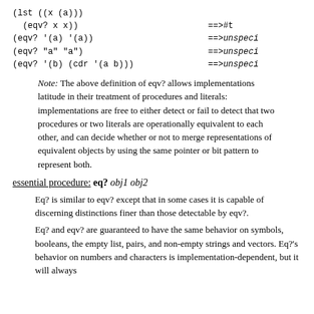(lst ((x (a)))
  (eqv? x x))  ==>  #t
(eqv? '(a) '(a))  ==>  unspecified
(eqv? "a" "a")  ==>  unspecified
(eqv? '(b) (cdr '(a b)))  ==>  unspecified
Note: The above definition of eqv? allows implementations latitude in their treatment of procedures and literals: implementations are free to either detect or fail to detect that two procedures or two literals are operationally equivalent to each other, and can decide whether or not to merge representations of equivalent objects by using the same pointer or bit pattern to represent both.
essential procedure: eq? obj1 obj2
Eq? is similar to eqv? except that in some cases it is capable of discerning distinctions finer than those detectable by eqv?.
Eq? and eqv? are guaranteed to have the same behavior on symbols, booleans, the empty list, pairs, and non-empty strings and vectors. Eq?'s behavior on numbers and characters is implementation-dependent, but it will always